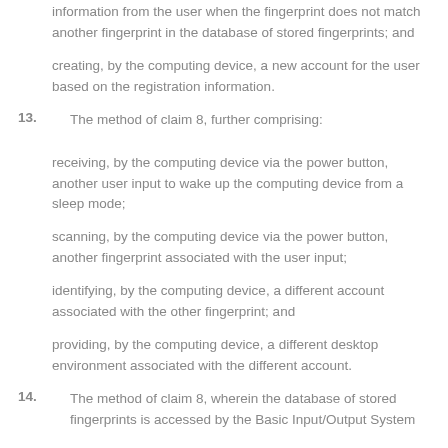information from the user when the fingerprint does not match another fingerprint in the database of stored fingerprints; and
creating, by the computing device, a new account for the user based on the registration information.
13. The method of claim 8, further comprising:
receiving, by the computing device via the power button, another user input to wake up the computing device from a sleep mode;
scanning, by the computing device via the power button, another fingerprint associated with the user input;
identifying, by the computing device, a different account associated with the other fingerprint; and
providing, by the computing device, a different desktop environment associated with the different account.
14. The method of claim 8, wherein the database of stored fingerprints is accessed by the Basic Input/Output System